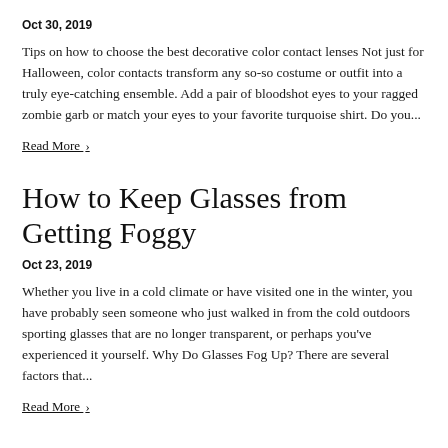Oct 30, 2019
Tips on how to choose the best decorative color contact lenses Not just for Halloween, color contacts transform any so-so costume or outfit into a truly eye-catching ensemble. Add a pair of bloodshot eyes to your ragged zombie garb or match your eyes to your favorite turquoise shirt. Do you...
Read More ›
How to Keep Glasses from Getting Foggy
Oct 23, 2019
Whether you live in a cold climate or have visited one in the winter, you have probably seen someone who just walked in from the cold outdoors sporting glasses that are no longer transparent, or perhaps you've experienced it yourself. Why Do Glasses Fog Up? There are several factors that...
Read More ›